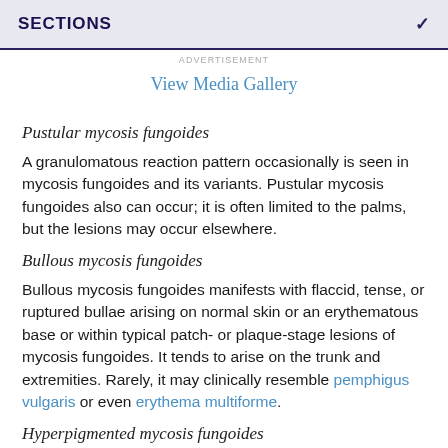SECTIONS
ADVERTISEMENT
View Media Gallery
Pustular mycosis fungoides
A granulomatous reaction pattern occasionally is seen in mycosis fungoides and its variants. Pustular mycosis fungoides also can occur; it is often limited to the palms, but the lesions may occur elsewhere.
Bullous mycosis fungoides
Bullous mycosis fungoides manifests with flaccid, tense, or ruptured bullae arising on normal skin or an erythematous base or within typical patch- or plaque-stage lesions of mycosis fungoides. It tends to arise on the trunk and extremities. Rarely, it may clinically resemble pemphigus vulgaris or even erythema multiforme.
Hyperpigmented mycosis fungoides